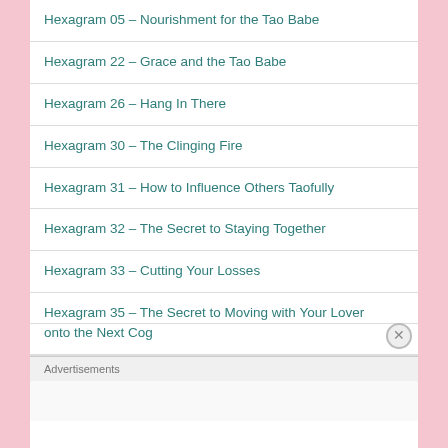Hexagram 05 – Nourishment for the Tao Babe
Hexagram 22 – Grace and the Tao Babe
Hexagram 26 – Hang In There
Hexagram 30 – The Clinging Fire
Hexagram 31 – How to Influence Others Taofully
Hexagram 32 – The Secret to Staying Together
Hexagram 33 – Cutting Your Losses
Hexagram 35 – The Secret to Moving with Your Lover onto the Next Cog
Advertisements